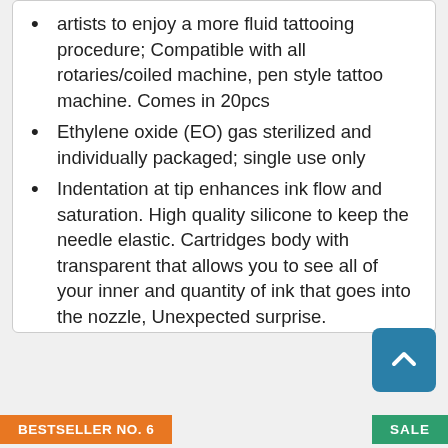artists to enjoy a more fluid tattooing procedure; Compatible with all rotaries/coiled machine, pen style tattoo machine. Comes in 20pcs
Ethylene oxide (EO) gas sterilized and individually packaged; single use only
Indentation at tip enhances ink flow and saturation. High quality silicone to keep the needle elastic. Cartridges body with transparent that allows you to see all of your inner and quantity of ink that goes into the nozzle, Unexpected surprise.
Compatible with all rotary and pen style tattoo machines, as well as Hawk machines and grips.
Check Latest Price
BESTSELLER NO. 6
SALE